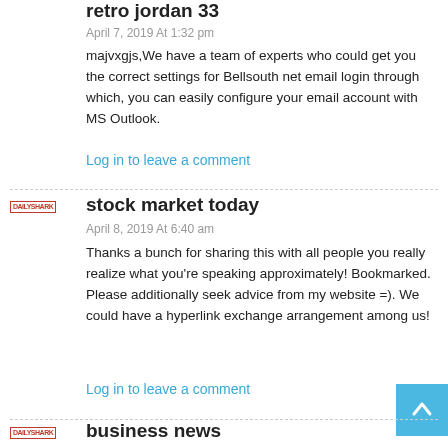retro jordan 33
April 7, 2019 At 1:32 pm
majvxgjs,We have a team of experts who could get you the correct settings for Bellsouth net email login through which, you can easily configure your email account with MS Outlook.
Log in to leave a comment
[Figure (logo): DailyShark logo in red text]
stock market today
April 8, 2019 At 6:40 am
Thanks a bunch for sharing this with all people you really realize what you're speaking approximately! Bookmarked. Please additionally seek advice from my website =). We could have a hyperlink exchange arrangement among us!
Log in to leave a comment
[Figure (logo): DailyShark logo in red text]
business news